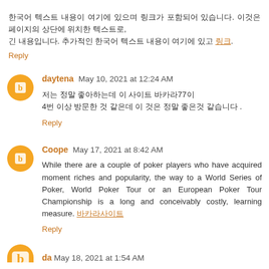Korean text (top paragraph with link)
Reply
daytena May 10, 2021 at 12:24 AM
Korean comment text about 77 and 4
Reply
Coope May 17, 2021 at 8:42 AM
While there are a couple of poker players who have acquired moment riches and popularity, the way to a World Series of Poker, World Poker Tour or an European Poker Tour Championship is a long and conceivably costly, learning measure. [Korean link]
Reply
Partial author line May 18, 2021 at 1:54 AM (partial)